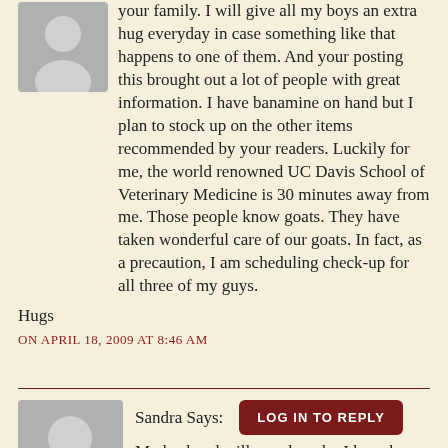your family. I will give all my boys an extra hug everyday in case something like that happens to one of them. And your posting this brought out a lot of people with great information. I have banamine on hand but I plan to stock up on the other items recommended by your readers. Luckily for me, the world renowned UC Davis School of Veterinary Medicine is 30 minutes away from me. Those people know goats. They have taken wonderful care of our goats. In fact, as a precaution, I am scheduling check-up for all three of my guys.
Hugs
ON APRIL 18, 2009 AT 8:46 AM
[Figure (illustration): Gray placeholder avatar silhouette icon for Sandra]
Sandra Says:
LOG IN TO REPLY
My husband will wonder why I have been crying this morning and I'll tell him "because Honey died."